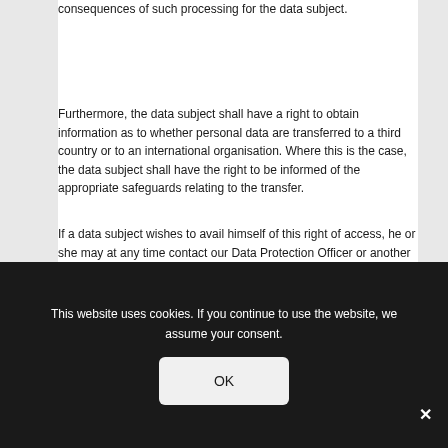consequences of such processing for the data subject.
Furthermore, the data subject shall have a right to obtain information as to whether personal data are transferred to a third country or to an international organisation. Where this is the case, the data subject shall have the right to be informed of the appropriate safeguards relating to the transfer.
If a data subject wishes to avail himself of this right of access, he or she may at any time contact our Data Protection Officer or another employee of the controller.
c) Right to rectification
[partial text, obscured by cookie banner]
This website uses cookies. If you continue to use the website, we assume your consent.